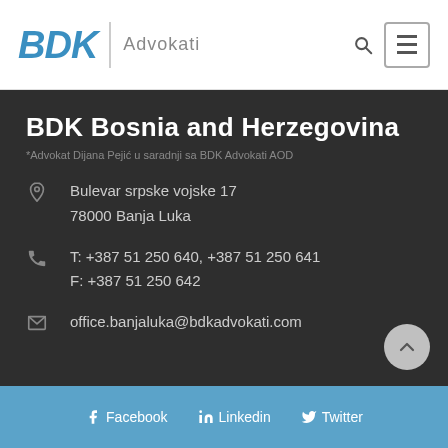BDK Advokati
BDK Bosnia and Herzegovina
*Advokat Dijana Pejić u saradnji sa BDK Advokati AOD
Bulevar srpske vojske 17
78000 Banja Luka
T: +387 51 250 640, +387 51 250 641
F: +387 51 250 642
office.banjaluka@bdkadvokati.com
Facebook   Linkedin   Twitter